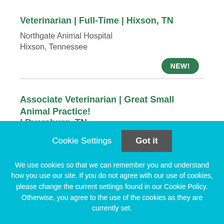Veterinarian | Full-Time | Hixson, TN
Northgate Animal Hospital
Hixson, Tennessee
NEW!
Associate Veterinarian | Great Small Animal Practice! | Dyersburg, TN
Cookie Settings  Got it
We use cookies so that we can remember you and understand how you use our site. If you do not agree with our use of cookies, please change the current settings found in our Cookie Policy. Otherwise, you agree to the use of the cookies as they are currently set.